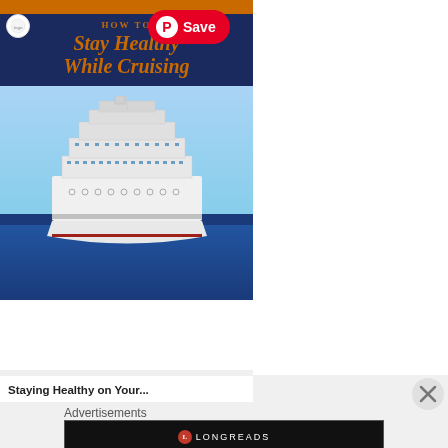[Figure (screenshot): Pinterest card showing 'How to Stay Healthy While Cruising' with a cruise ship photo and a red Save button overlay]
Staying Healthy on Your...
Advertisements
[Figure (screenshot): Longreads advertisement banner with logo and tagline 'Read anything great lately?']